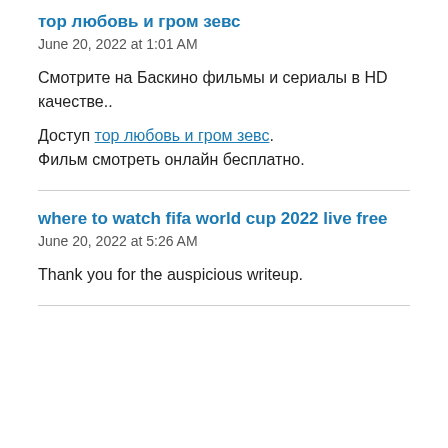тор любовь и гром зевс
June 20, 2022 at 1:01 AM
Смотрите на Баскино фильмы и сериалы в HD качестве..
Доступ тор любовь и гром зевс. Фильм смотреть онлайн бесплатно.
where to watch fifa world cup 2022 live free
June 20, 2022 at 5:26 AM
Thank you for the auspicious writeup.